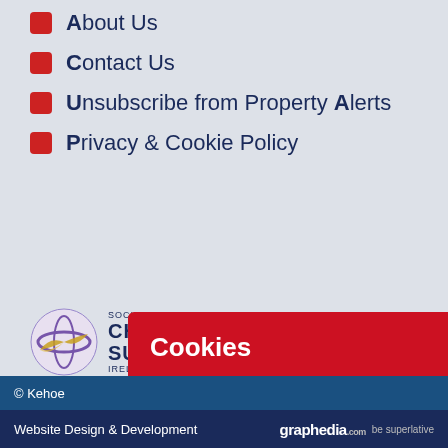About Us
Contact Us
Unsubscribe from Property Alerts
Privacy & Cookie Policy
[Figure (logo): Society of Chartered Surveyors Ireland logo]
[Figure (logo): RICS logo (partially visible)]
[Figure (logo): PSRA Property Services Regulatory Authority logo (partially visible)]
Cookies
Kehoe & Assoc. uses cookies: Find out more.
Okay, thanks
© Kehoe
Website Design & Development  graphedia.com  be superlative